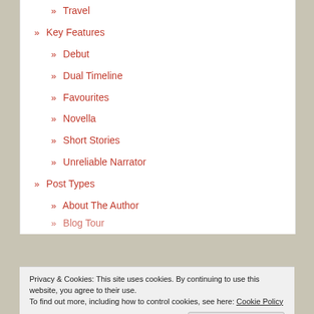» Travel
» Key Features
» Debut
» Dual Timeline
» Favourites
» Novella
» Short Stories
» Unreliable Narrator
» Post Types
» About The Author
» Blog Tour (partial)
Privacy & Cookies: This site uses cookies. By continuing to use this website, you agree to their use.
To find out more, including how to control cookies, see here: Cookie Policy
» Abacus